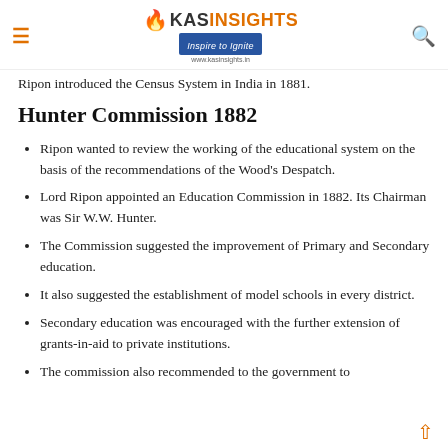KAS INSIGHTS — Inspire to Ignite — www.kasinsights.in
Ripon introduced the Census System in India in 1881.
Hunter Commission 1882
Ripon wanted to review the working of the educational system on the basis of the recommendations of the Wood's Despatch.
Lord Ripon appointed an Education Commission in 1882. Its Chairman was Sir W.W. Hunter.
The Commission suggested the improvement of Primary and Secondary education.
It also suggested the establishment of model schools in every district.
Secondary education was encouraged with the further extension of grants-in-aid to private institutions.
The commission also recommended to the government to